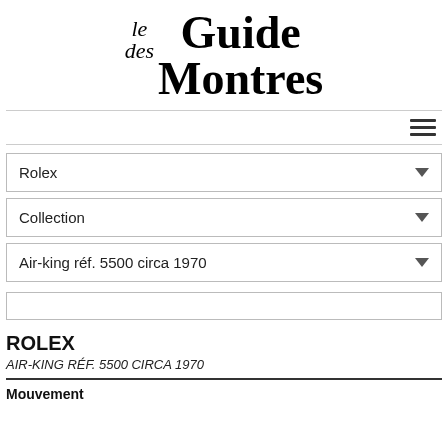[Figure (logo): le Guide des Montres logo in serif typeface]
[Figure (other): Hamburger menu icon (three horizontal lines)]
Rolex
Collection
Air-king réf. 5500 circa 1970
ROLEX
AIR-KING RÉF. 5500 CIRCA 1970
Mouvement